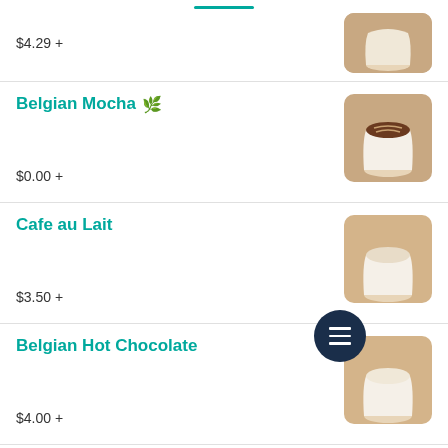$4.29 +
Belgian Mocha
$0.00 +
Cafe au Lait
$3.50 +
Belgian Hot Chocolate
$4.00 +